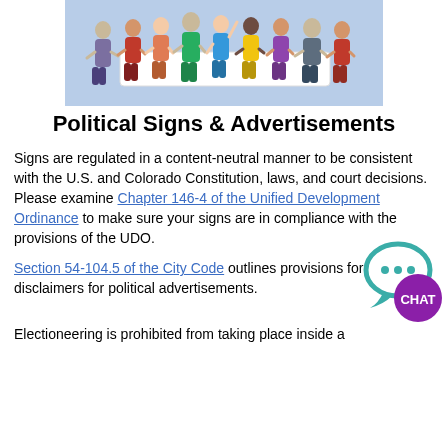[Figure (illustration): Group of diverse cartoon people standing and holding a large blank white banner/sign. Light blue background. People of various ethnicities and clothing colors.]
Political Signs & Advertisements
Signs are regulated in a content-neutral manner to be consistent with the U.S. and Colorado Constitution, laws, and court decisions. Please examine Chapter 146-4 of the Unified Development Ordinance to make sure your signs are in compliance with the provisions of the UDO.
Section 54-104.5 of the City Code outlines provisions for disclaimers for political advertisements.
[Figure (illustration): Chat bubble icon in teal with three dots, overlaid with a purple circle containing the word CHAT in white bold text.]
Electioneering is prohibited from taking place inside a